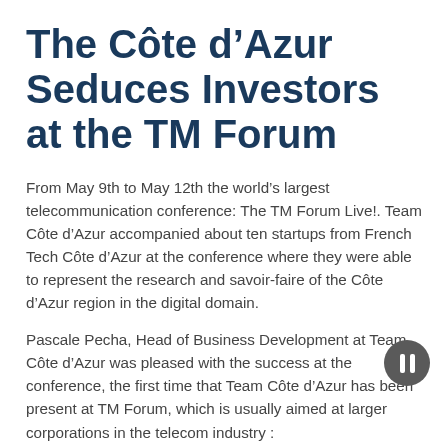The Côte d'Azur Seduces Investors at the TM Forum
From May 9th to May 12th the world's largest telecommunication conference: The TM Forum Live!. Team Côte d'Azur accompanied about ten startups from French Tech Côte d'Azur at the conference where they were able to represent the research and savoir-faire of the Côte d'Azur region in the digital domain.
Pascale Pecha, Head of Business Development at Team Côte d'Azur was pleased with the success at the conference, the first time that Team Côte d'Azur has been present at TM Forum, which is usually aimed at larger corporations in the telecom industry :